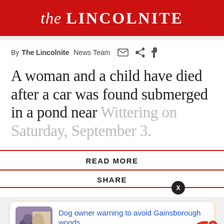the LINCOLNITE
By The Lincolnite News Team
A woman and a child have died after a car was found submerged in a pond near Wittering on Saturday, September 3.
READ MORE
SHARE
Dog owner warning to avoid Gainsborough woods
2 hours ago